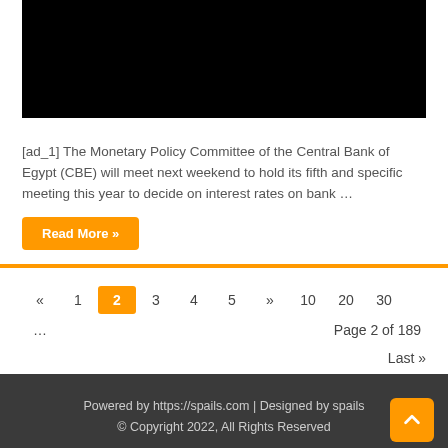[Figure (photo): Black image/video placeholder at top of article]
[ad_1] The Monetary Policy Committee of the Central Bank of Egypt (CBE) will meet next weekend to hold its fifth and specific meeting this year to decide on interest rates on bank …
Read More »
« 1 2 3 4 5 » 10 20 30 … Page 2 of 189
Last »
Powered by https://spails.com | Designed by spails
© Copyright 2022, All Rights Reserved